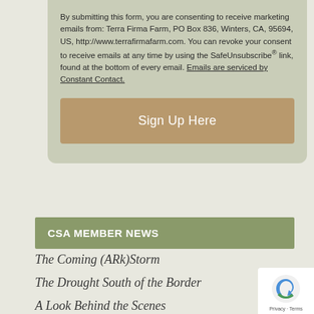By submitting this form, you are consenting to receive marketing emails from: Terra Firma Farm, PO Box 836, Winters, CA, 95694, US, http://www.terrafirmafarm.com. You can revoke your consent to receive emails at any time by using the SafeUnsubscribe® link, found at the bottom of every email. Emails are serviced by Constant Contact.
[Figure (other): A tan/brown button labeled 'Sign Up Here']
CSA MEMBER NEWS
The Coming (ARk)Storm
The Drought South of the Border
A Look Behind the Scenes